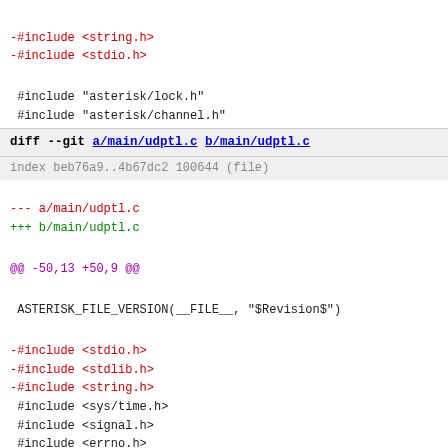-#include <string.h>
-#include <stdio.h>
#include "asterisk/lock.h"
 #include "asterisk/channel.h"
diff --git a/main/udptl.c b/main/udptl.c
index beb76a9..4b67dc2 100644 (file)
--- a/main/udptl.c
+++ b/main/udptl.c
@@ -50,13 +50,9 @@
ASTERISK_FILE_VERSION(__FILE__, "$Revision$")
-#include <stdio.h>
-#include <stdlib.h>
-#include <string.h>
 #include <sys/time.h>
 #include <signal.h>
 #include <errno.h>
-#include <unistd.h>
 #include <netinet/in.h>
 #include <sys/time.h>
 #include <sys/socket.h>
diff --git a/main/utils.c b/main/utils.c
index d948891..d7a04e9 100644 (file)
--- a/main/utils.c
+++ b/main/utils.c
@@ -28,14 +28,8 @@
ASTERISK_FILE_VERSION(__FILE__, "$Revision$")